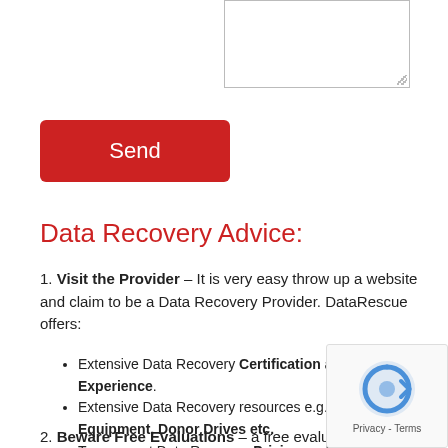[Figure (other): Text area input box, partially visible at top]
[Figure (other): Red 'Send' button]
Data Recovery Advice:
1. Visit the Provider – It is very easy throw up a website and claim to be a Data Recovery Provider. DataRescue offers:
Extensive Data Recovery Certification and Experience.
Extensive Data Recovery resources e.g. Facilities, Equipment, Donor Drives etc.
Transparent Data Recovery Pricing and Processes.
Formal Data Recovery Security Protocols.
2. Beware Free Evaluations – a free evaluation doesn't